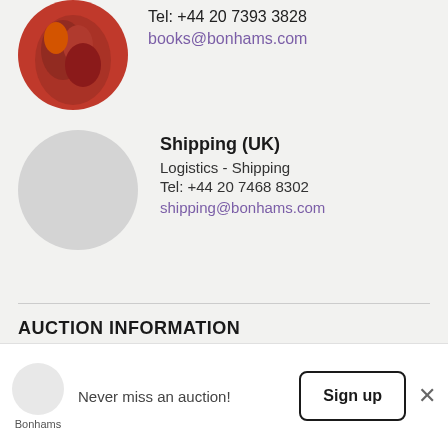Tel: +44 20 7393 3828
books@bonhams.com
[Figure (photo): Circular avatar placeholder for Shipping (UK) contact, grey circle]
Shipping (UK)
Logistics - Shipping
Tel: +44 20 7468 8302
shipping@bonhams.com
AUCTION INFORMATION
Never miss an auction!
Sign up
Bonhams